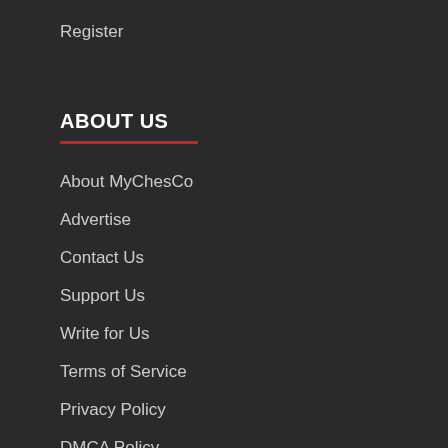Register
ABOUT US
About MyChesCo
Advertise
Contact Us
Support Us
Write for Us
Terms of Service
Privacy Policy
DMCA Policy
Affiliate Disclaimer